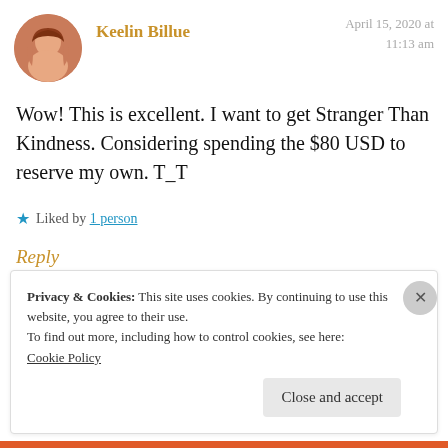[Figure (photo): Circular avatar photo of a woman with auburn hair]
Keelin Billue
April 15, 2020 at 11:13 am
Wow! This is excellent. I want to get Stranger Than Kindness. Considering spending the $80 USD to reserve my own. T_T
★ Liked by 1 person
Reply
Privacy & Cookies: This site uses cookies. By continuing to use this website, you agree to their use.
To find out more, including how to control cookies, see here:
Cookie Policy
Close and accept